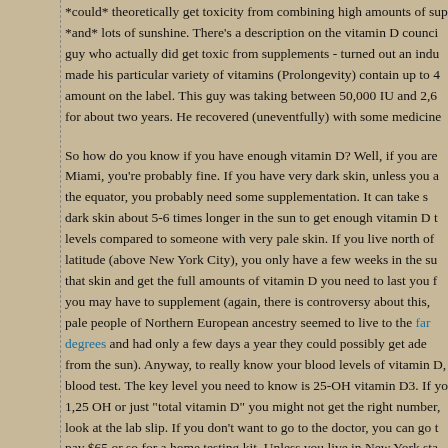*could* theoretically get toxicity from combining high amounts of supplements *and* lots of sunshine. There's a description on the vitamin D council of a guy who actually did get toxic from supplements - turned out an industrial error made his particular variety of vitamins (Prolongevity) contain up to 4x the amount on the label. This guy was taking between 50,000 IU and 2,6000 IU for about two years. He recovered (uneventfully) with some medicine.
So how do you know if you have enough vitamin D? Well, if you are in Miami, you're probably fine. If you have very dark skin, unless you are near the equator, you probably need some supplementation. It can take someone with dark skin about 5-6 times longer in the sun to get enough vitamin D to raise levels compared to someone with very pale skin. If you live north of 40 degrees latitude (above New York City), you only have a few weeks in the sun to expose that skin and get the full amounts of vitamin D you need to last you for the year, you may have to supplement (again, there is controversy about this, as many pale people of Northern European ancestry seemed to live to the far north, above 60 degrees and had only a few days a year they could possibly get adequate from the sun). Anyway, to really know your blood levels of vitamin D, you need a blood test. The key level you need to know is 25-OH vitamin D3. If you get 1,25 OH or just "total vitamin D" you might not get the right number, so look at the lab slip. If you don't want to go to the doctor, you can go to pay $65 or so for a home testing kit. Unless you live in New York sta